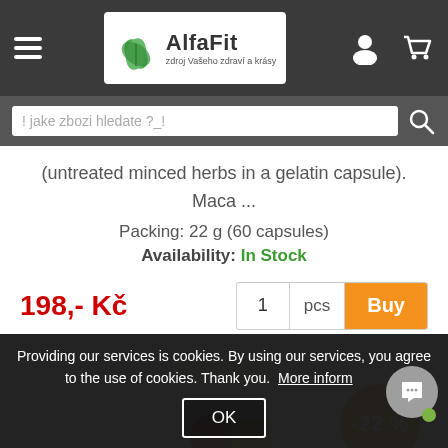AlfaFit - zdroj Vašeho zdraví a krásy
! jake zbozi hledate ?_!
(untreated minced herbs in a gelatin capsule). Maca ...
Packing: 22 g (60 capsules)
Availability: In Stock
198,- Kč
1 pcs Buy
[Figure (photo): White supplement jar (Maca-Quinva) with product label, showing -22% discount badge]
Providing our services is cookies. By using our services, you agree to the use of cookies. Thank you. More information
OK